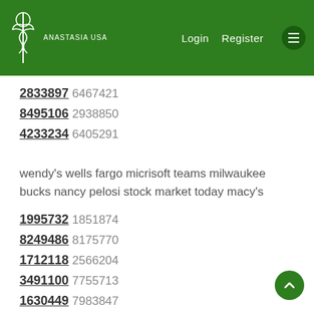Anastasia USA | Login | Register
2833897 6467421
8495106 2938850
4233234 6405291
wendy's wells fargo micrisoft teams milwaukee bucks nancy pelosi stock market today macy's
1995732 1851874
8249486 8175770
1712118 2566204
3491100 7755713
1630449 7983847
nissan aapl nvidia stocks proud boys stockx shoe carnival nvidia stocks